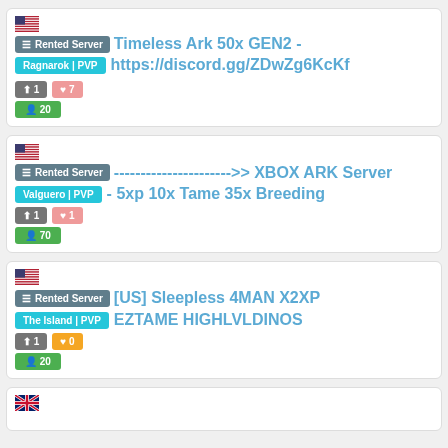Rented Server | Ragnarok | PVP | Timeless Ark 50x GEN2 - https://discord.gg/ZDwZg6KcKf | up:1 heart:7 players:20
Rented Server | Valguero | PVP | ---------------------->> XBOX ARK Server - 5xp 10x Tame 35x Breeding | up:1 heart:1 players:70
Rented Server | The Island | PVP | [US] Sleepless 4MAN X2XP EZTAME HIGHLVLDINOS | up:1 heart:0 players:20
Fourth server card (partial, UK flag visible)